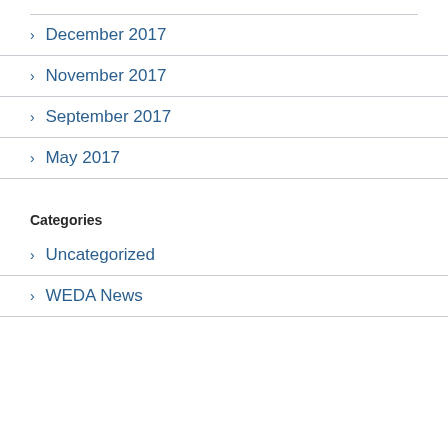> December 2017
> November 2017
> September 2017
> May 2017
Categories
> Uncategorized
> WEDA News